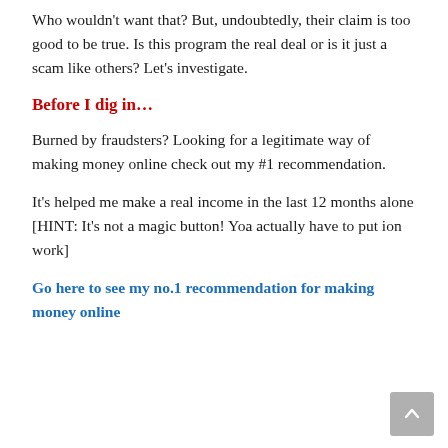Who wouldn't want that? But, undoubtedly, their claim is too good to be true. Is this program the real deal or is it just a scam like others? Let's investigate.
Before I dig in…
Burned by fraudsters? Looking for a legitimate way of making money online check out my #1 recommendation.
It's helped me make a real income in the last 12 months alone [HINT: It's not a magic button! Yoa actually have to put ion work]
Go here to see my no.1 recommendation for making money online